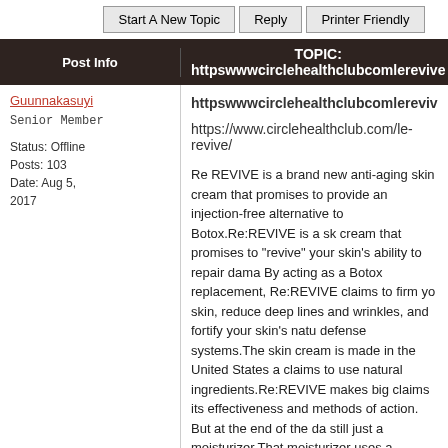Start A New Topic | Reply | Printer Friendly
Post Info | TOPIC: httpswwwcirclehealthclubcomlerevive
Guunnakasuyi
httpswwwcirclehealthclubcomlerevive Permalink - More -
Senior Member
Status: Offline
Posts: 103
Date: Aug 5, 2017
https://www.circlehealthclub.com/le-revive/
Re REVIVE is a brand new anti-aging skin cream that promises to provide an injection-free alternative to Botox.Re:REVIVE is a skin cream that promises to "revive" your skin's ability to repair damage. By acting as a Botox replacement, Re:REVIVE claims to firm your skin, reduce deep lines and wrinkles, and fortify your skin's natural defense systems.The skin cream is made in the United States and claims to use natural ingredients.Re:REVIVE makes big claims about its effectiveness and methods of action. But at the end of the day, it's still just a moisturizer.That moisturizer uses a combination of peptides, antioxidants, and natural extracts that work together to heal your skin.When your skin is properly hydrated, it acts as an effective barrier against the toxins and pollutants of the outside world. When your skin is dry, cracked, and broken, those toxins can penetrate your skin and speed up the effects of aging.Re:REVIVE doesn't cite much scientific or clinical evidence supporting these claims. It claims that one study on peptides showed they boosted collagen production and limited collagen degradation while attenuating muscle contractions. Another study showed that peptides "may help substantially decrease wrinkle depth in just 30 days".nevertheless, the creator of Re:REVIVE ne